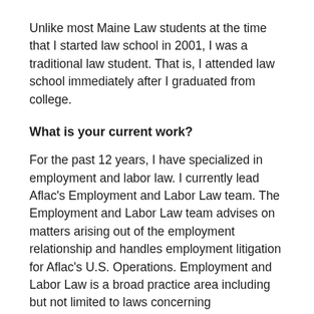Unlike most Maine Law students at the time that I started law school in 2001, I was a traditional law student. That is, I attended law school immediately after I graduated from college.
What is your current work?
For the past 12 years, I have specialized in employment and labor law. I currently lead Aflac's Employment and Labor Law team. The Employment and Labor Law team advises on matters arising out of the employment relationship and handles employment litigation for Aflac's U.S. Operations. Employment and Labor Law is a broad practice area including but not limited to laws concerning discrimination, harassment, retaliation, workplace safety, restrictive covenants, employment agreements,